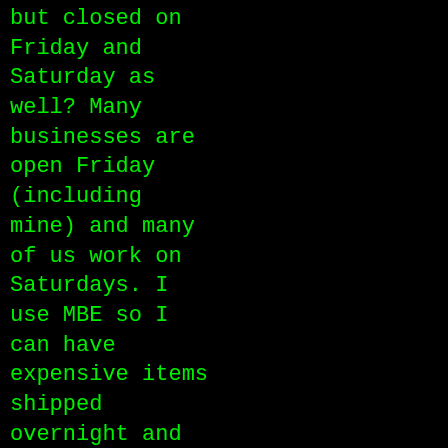but closed on Friday and Saturday as well? Many businesses are open Friday (including mine) and many of us work on Saturdays. I use MBE so I can have expensive items shipped overnight and “signature required” and not have to worry about missing the delivery because I was in the shower or out on an errand. When I